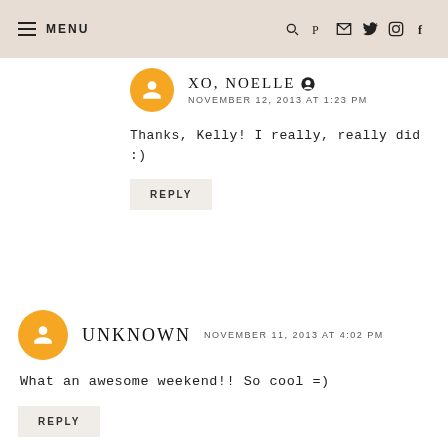MENU
XO, NOELLE
NOVEMBER 12, 2013 AT 1:23 PM
Thanks, Kelly! I really, really did :)
REPLY
UNKNOWN  NOVEMBER 11, 2013 AT 4:02 PM
What an awesome weekend!! So cool =)
REPLY